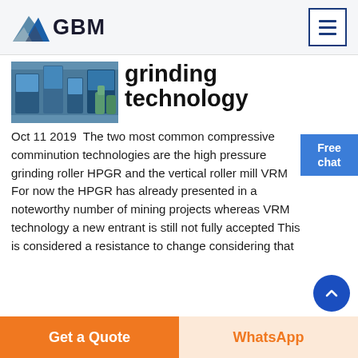[Figure (logo): GBM company logo with triangular mountain shape in blue and grey colors, with bold text 'GBM']
[Figure (photo): Industrial machinery/equipment photo showing blue industrial machines]
grinding technology
Oct 11 2019  The two most common compressive comminution technologies are the high pressure grinding roller HPGR and the vertical roller mill VRM For now the HPGR has already presented in a noteworthy number of mining projects whereas VRM technology a new entrant is still not fully accepted This is considered a resistance to change considering that